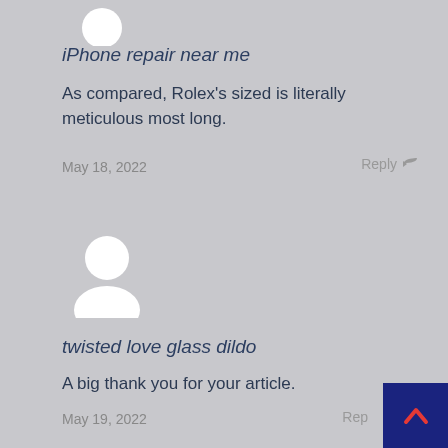[Figure (illustration): Default user avatar icon (white silhouette on gray), partially cropped at top of page]
iPhone repair near me
As compared, Rolex's sized is literally meticulous most long.
May 18, 2022
Reply
[Figure (illustration): Default user avatar icon (white silhouette on gray background)]
twisted love glass dildo
A big thank you for your article.
May 19, 2022
Reply